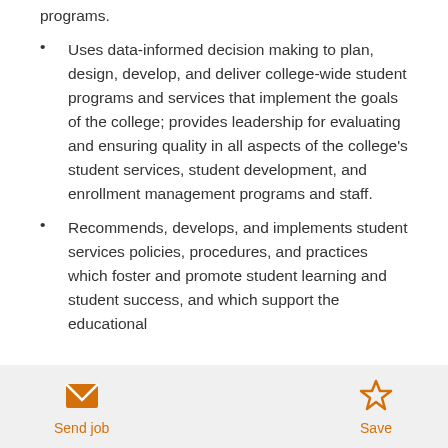programs.
Uses data-informed decision making to plan, design, develop, and deliver college-wide student programs and services that implement the goals of the college; provides leadership for evaluating and ensuring quality in all aspects of the college's student services, student development, and enrollment management programs and staff.
Recommends, develops, and implements student services policies, procedures, and practices which foster and promote student learning and student success, and which support the educational
Send job   Save